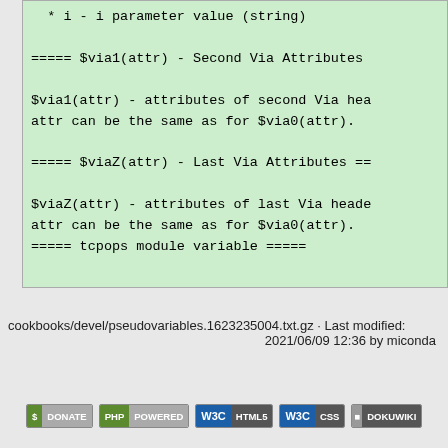* i - i parameter value (string)
===== $via1(attr) - Second Via Attributes
$via1(attr) - attributes of second Via hea attr can be the same as for $via0(attr).
===== $viaZ(attr) - Last Via Attributes ==
$viaZ(attr) - attributes of last Via heade attr can be the same as for $via0(attr).
===== tcpops module variable =====
cookbooks/devel/pseudovariables.1623235004.txt.gz · Last modified: 2021/06/09 12:36 by miconda